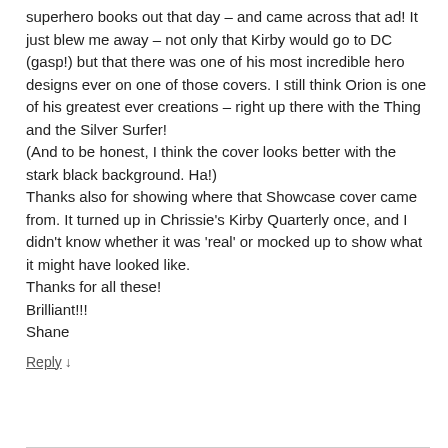superhero books out that day – and came across that ad! It just blew me away – not only that Kirby would go to DC (gasp!) but that there was one of his most incredible hero designs ever on one of those covers. I still think Orion is one of his greatest ever creations – right up there with the Thing and the Silver Surfer!
(And to be honest, I think the cover looks better with the stark black background. Ha!)
Thanks also for showing where that Showcase cover came from. It turned up in Chrissie's Kirby Quarterly once, and I didn't know whether it was 'real' or mocked up to show what it might have looked like.
Thanks for all these!
Brilliant!!!
Shane
Reply ↓